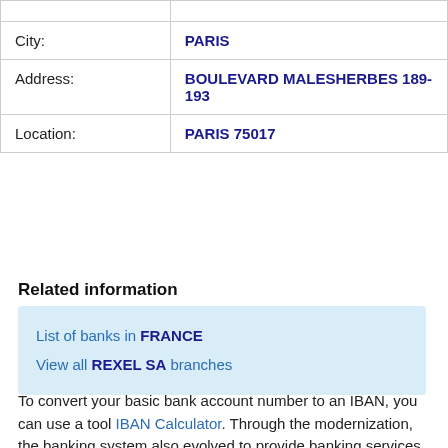| Field | Value |
| --- | --- |
| City: | PARIS |
| Address: | BOULEVARD MALESHERBES 189-193 |
| Location: | PARIS 75017 |
Related information
List of banks in FRANCE
View all REXEL SA branches
To convert your basic bank account number to an IBAN, you can use a tool IBAN Calculator. Through the modernization, the banking system also evolved to provide banking services and other